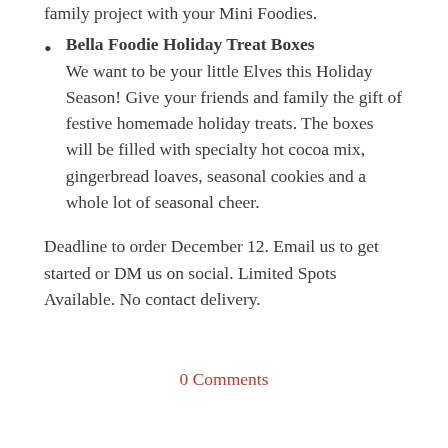family project with your Mini Foodies.
Bella Foodie Holiday Treat Boxes We want to be your little Elves this Holiday Season! Give your friends and family the gift of festive homemade holiday treats. The boxes will be filled with specialty hot cocoa mix, gingerbread loaves, seasonal cookies and a whole lot of seasonal cheer.
Deadline to order December 12. Email us to get started or DM us on social. Limited Spots Available. No contact delivery.
0 Comments